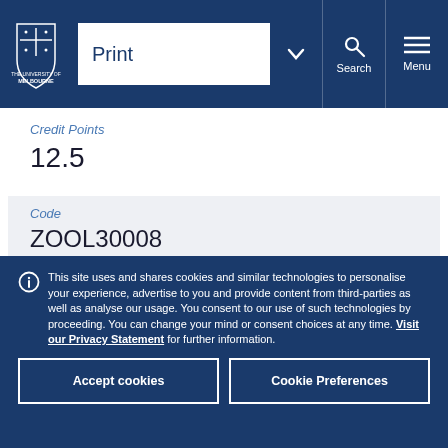University of Melbourne — Print | Search | Menu
Credit Points
12.5
Code
ZOOL30008
This site uses and shares cookies and similar technologies to personalise your experience, advertise to you and provide content from third-parties as well as analyse our usage. You consent to our use of such technologies by proceeding. You can change your mind or consent choices at any time. Visit our Privacy Statement for further information.
Accept cookies
Cookie Preferences